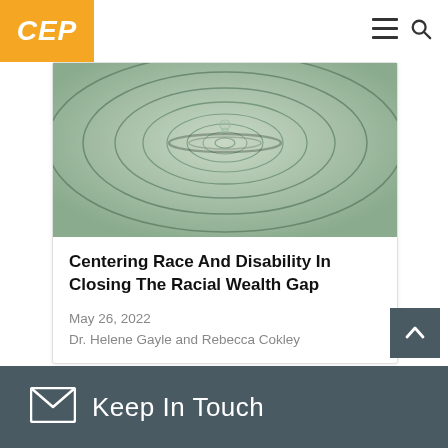CEP
[Figure (photo): Water droplet ripple effect on a green-tinted water surface, showing concentric circular ripples expanding from the center where a droplet has just fallen.]
Centering Race And Disability In Closing The Racial Wealth Gap
May 26, 2022
Dr. Helene Gayle and Rebecca Cokley
Keep In Touch